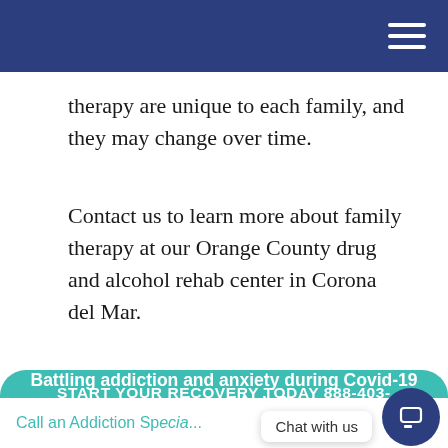therapy are unique to each family, and they may change over time.
Contact us to learn more about family therapy at our Orange County drug and alcohol rehab center in Corona del Mar.
START YOUR RECOVERY TODAY 888-403-
Battling addiction and anxiety during Covid-19 and need help? Adelante Recovery is here for you and taking admissions.
Call an Addiction Sp... y
Chat with us